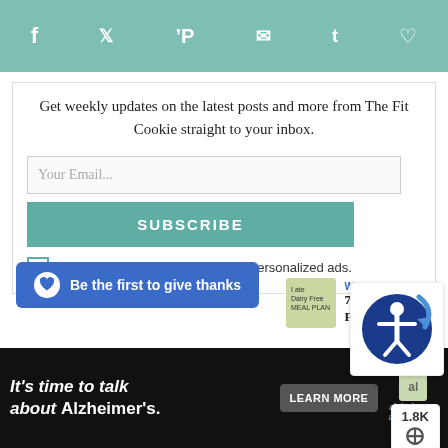f  [twitter]  [pinterest]  [email]  t  [heart]
Get weekly updates on the latest posts and more from The Fit Cookie straight to your inbox.
[Figure (screenshot): Email input field with placeholder text 'Your Email...']
[Figure (screenshot): SUBSCRIBE button in teal color]
I consent to receiving emails and personalized ads.
[Figure (screenshot): Accessibility widget icon (blue circle with person figure)]
1.8K
Be the first to give thanks
WHAT'S NEXT → 7 Day Gluten Free Dairy...
[Figure (screenshot): Advertisement: It's time to talk about Alzheimer's. LEARN MORE]